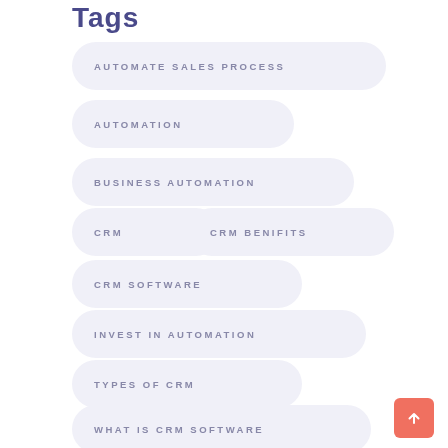Tags
AUTOMATE SALES PROCESS
AUTOMATION
BUSINESS AUTOMATION
CRM
CRM BENIFITS
CRM SOFTWARE
INVEST IN AUTOMATION
TYPES OF CRM
WHAT IS CRM SOFTWARE